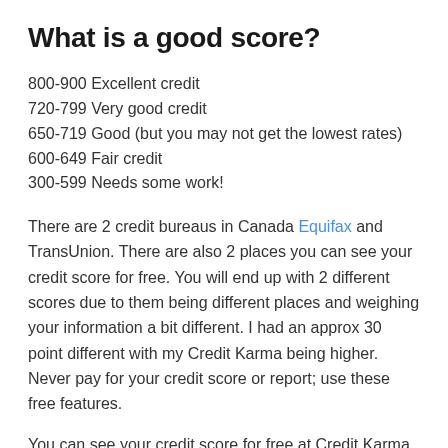What is a good score?
800-900 Excellent credit
720-799 Very good credit
650-719 Good (but you may not get the lowest rates)
600-649 Fair credit
300-599 Needs some work!
There are 2 credit bureaus in Canada Equifax and TransUnion. There are also 2 places you can see your credit score for free. You will end up with 2 different scores due to them being different places and weighing your information a bit different. I had an approx 30 point different with my Credit Karma being higher. Never pay for your credit score or report; use these free features.
You can see your credit score for free at Credit Karma which uses Transunion.